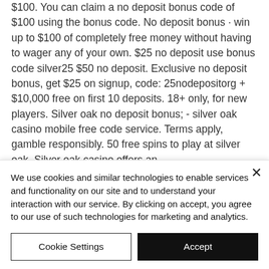$100. You can claim a no deposit bonus code of $100 using the bonus code. No deposit bonus · win up to $100 of completely free money without having to wager any of your own. $25 no deposit use bonus code silver25 $50 no deposit. Exclusive no deposit bonus, get $25 on signup, code: 25nodepositorg + $10,000 free on first 10 deposits. 18+ only, for new players. Silver oak no deposit bonus; - silver oak casino mobile free code service. Terms apply, gamble responsibly. 50 free spins to play at silver oak. Silver oak casino offers an
We use cookies and similar technologies to enable services and functionality on our site and to understand your interaction with our service. By clicking on accept, you agree to our use of such technologies for marketing and analytics.
Cookie Settings
Accept